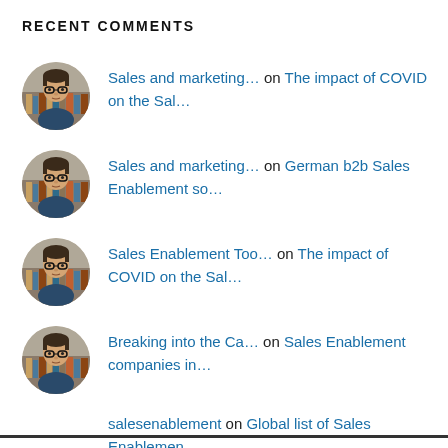RECENT COMMENTS
Sales and marketing… on The impact of COVID on the Sal…
Sales and marketing… on German b2b Sales Enablement so…
Sales Enablement Too… on The impact of COVID on the Sal…
Breaking into the Ca… on Sales Enablement companies in…
salesenablement on Global list of Sales Enablemen…